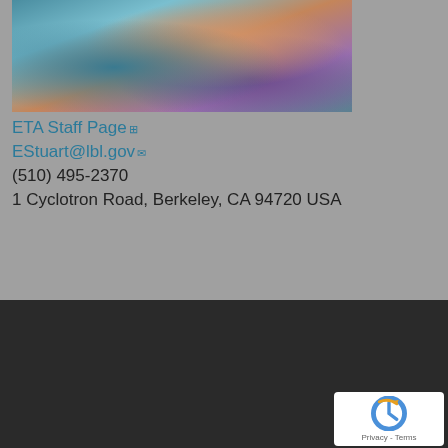[Figure (photo): Partial photo of a person wearing a colorful scarf with teal, orange, and purple patterns, shown from shoulder area]
ETA Staff Page
EStuart@lbl.gov
(510) 495-2370
1 Cyclotron Road, Berkeley, CA 94720 USA
Information
NEWS CENTER
PUBLICATIONS
JOIN OUR MAILING LIST